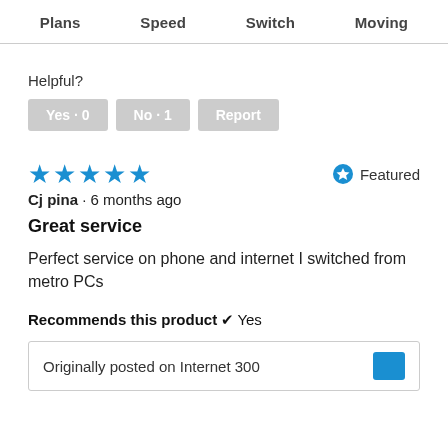Plans  Speed  Switch  Moving
Helpful?
Yes · 0   No · 1   Report
★★★★★   ⊙ Featured
Cj pina · 6 months ago
Great service
Perfect service on phone and internet I switched from metro PCs
Recommends this product ✓ Yes
Originally posted on Internet 300